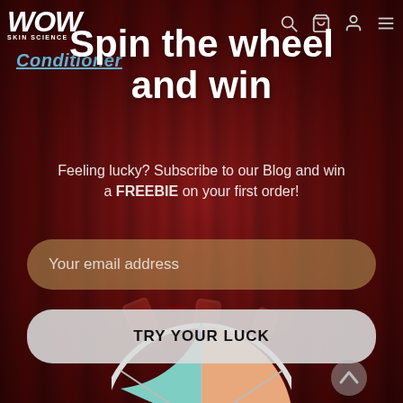[Figure (screenshot): WOW Skin Science website screenshot showing a 'Spin the wheel and win' promotional popup/page with dark red curtain background, navigation bar with logo and icons, email subscription form, and partially visible prize wheel at the bottom.]
WOW SKIN SCIENCE
Spin the wheel and win
Conditioner
Feeling lucky? Subscribe to our Blog and win a FREEBIE on your first order!
Your email address
TRY YOUR LUCK